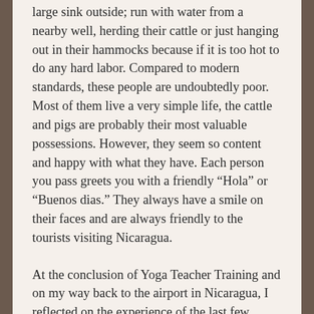large sink outside; run with water from a nearby well, herding their cattle or just hanging out in their hammocks because if it is too hot to do any hard labor. Compared to modern standards, these people are undoubtedly poor. Most of them live a very simple life, the cattle and pigs are probably their most valuable possessions. However, they seem so content and happy with what they have. Each person you pass greets you with a friendly “Hola” or “Buenos dias.” They always have a smile on their faces and are always friendly to the tourists visiting Nicaragua.
At the conclusion of Yoga Teacher Training and on my way back to the airport in Nicaragua, I reflected on the experience of the last few weeks. What does it really take to be happy?